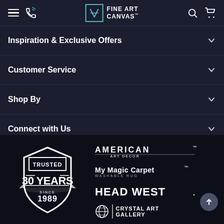Fine Art Canvas — navigation bar with hamburger, phone, logo, search, cart icons
Inspiration & Exclusive Offers
Customer Service
Shop By
Connect with Us
[Figure (logo): Trusted 30 Years Since 1989 shield badge logo]
[Figure (logo): American Art Decor logo]
[Figure (logo): My Magic Carpet Washable Rug logo]
[Figure (logo): Head West logo]
[Figure (logo): Crystal Art Gallery logo]